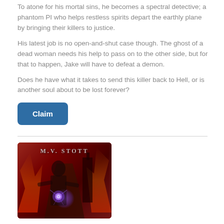To atone for his mortal sins, he becomes a spectral detective; a phantom PI who helps restless spirits depart the earthly plane by bringing their killers to justice.
His latest job is no open-and-shut case though. The ghost of a dead woman needs his help to pass on to the other side, but for that to happen, Jake will have to defeat a demon.
Does he have what it takes to send this killer back to Hell, or is another soul about to be lost forever?
[Figure (illustration): Book cover for M.V. Stott featuring a woman with dark hair holding a glowing purple orb, set against a fiery red background with a silhouette of a tower or building.]